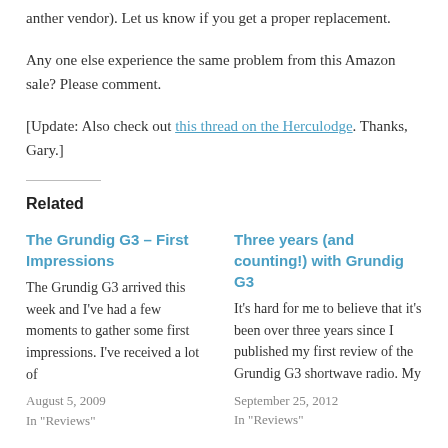anther vendor). Let us know if you get a proper replacement.
Any one else experience the same problem from this Amazon sale? Please comment.
[Update: Also check out this thread on the Herculodge. Thanks, Gary.]
Related
The Grundig G3 – First Impressions
The Grundig G3 arrived this week and I've had a few moments to gather some first impressions. I've received a lot of
August 5, 2009
In "Reviews"
Three years (and counting!) with Grundig G3
It's hard for me to believe that it's been over three years since I published my first review of the Grundig G3 shortwave radio. My
September 25, 2012
In "Reviews"